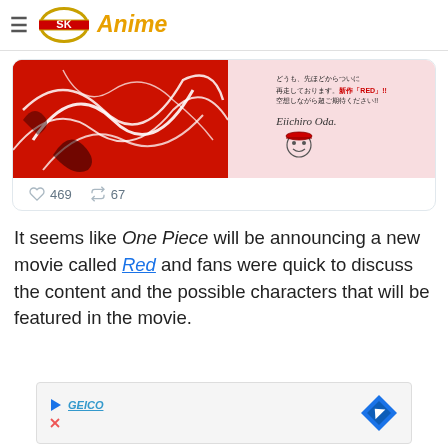SK Anime
[Figure (screenshot): Tweet card showing two images side by side: left is a red swirling One Piece artwork, right is a pink background with Japanese text announcing new movie RED and Eiichiro Oda's signature with a chibi Luffy drawing. Below shows 469 likes and 67 retweets.]
It seems like One Piece will be announcing a new movie called Red and fans were quick to discuss the content and the possible characters that will be featured in the movie.
[Figure (screenshot): Advertisement bar at bottom of page with GEICO logo arrow and close button on left, and a diamond-shaped map/navigation icon on right.]